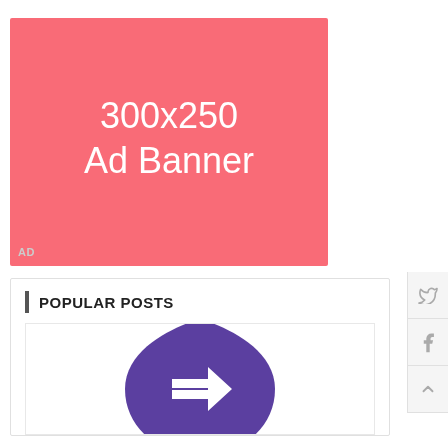[Figure (other): 300x250 Ad Banner placeholder — salmon/coral pink rectangle with white text '300x250 Ad Banner' and 'AD' label in bottom-left corner]
POPULAR POSTS
[Figure (illustration): Purple rounded hexagon/shield icon with a white arrow pointing down-right, partially visible at bottom of page]